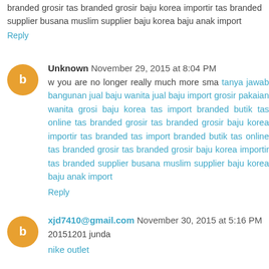branded grosir tas branded grosir baju korea importir tas branded supplier busana muslim supplier baju korea baju anak import
Reply
Unknown November 29, 2015 at 8:04 PM
w you are no longer really much more sma tanya jawab bangunan jual baju wanita jual baju import grosir pakaian wanita grosi baju korea tas import branded butik tas online tas branded grosir tas branded grosir baju korea importir tas branded tas import branded butik tas online tas branded grosir tas branded grosir baju korea importir tas branded supplier busana muslim supplier baju korea baju anak import
Reply
xjd7410@gmail.com November 30, 2015 at 5:16 PM
20151201 junda
nike outlet